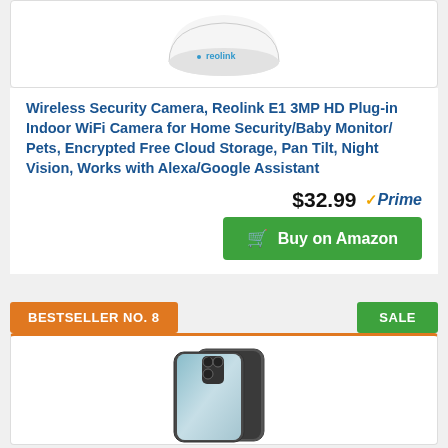[Figure (photo): Reolink brand white dome security camera viewed from above]
Wireless Security Camera, Reolink E1 3MP HD Plug-in Indoor WiFi Camera for Home Security/Baby Monitor/ Pets, Encrypted Free Cloud Storage, Pan Tilt, Night Vision, Works with Alexa/Google Assistant
$32.99 ✓Prime
Buy on Amazon
BESTSELLER NO. 8
SALE
[Figure (photo): Samsung Galaxy S21 smartphone in graphite color, shown from front and slightly angled]